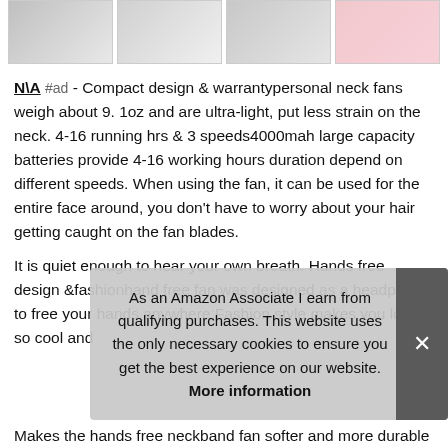[Figure (photo): Four product thumbnail images of neck fans in a horizontal strip]
N\A #ad - Compact design & warrantypersonal neck fans weigh about 9. 1oz and are ultra-light, put less strain on the neck. 4-16 running hrs & 3 speeds4000mah large capacity batteries provide 4-16 working hours duration depend on different speeds. When using the fan, it can be used for the entire face around, you don't have to worry about your hair getting caught on the fan blades.
It is quiet enough to hear your own breath. Hands free design &fashionhand free fan was designed as a headphone to free your hands anywhere;Fashion style makes you look so cool and
As an Amazon Associate I earn from qualifying purchases. This website uses the only necessary cookies to ensure you get the best experience on our website. More information
Makes the hands free neckband fan softer and more durable